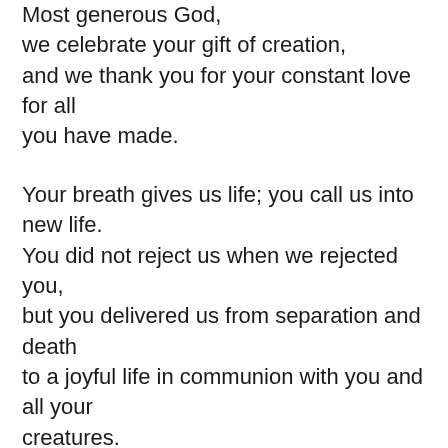Most generous God, we celebrate your gift of creation, and we thank you for your constant love for all you have made.
Your breath gives us life; you call us into new life. You did not reject us when we rejected you, but you delivered us from separation and death to a joyful life in communion with you and all your creatures.
Out of your desire to draw us into your love, Jesus was born into the human family and remained with people who were outcast.
He walks today among us. He touches us with your love.